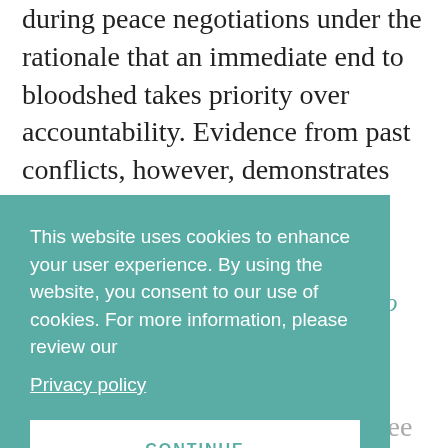during peace negotiations under the rationale that an immediate end to bloodshed takes priority over accountability. Evidence from past conflicts, however, demonstrates that barring accountability may lead to renewed conflict and instability in the long-term. The below discussion looks at a variety of ways amnesty has how produced results.
I. Improper Amnesty – No Truth, No Justice
Parties in conflict sometimes agree to blanket amnesty in order to negotiate an immediate end
This website uses cookies to enhance your user experience. By using the website, you consent to our use of cookies. For more information, please review our Privacy policy